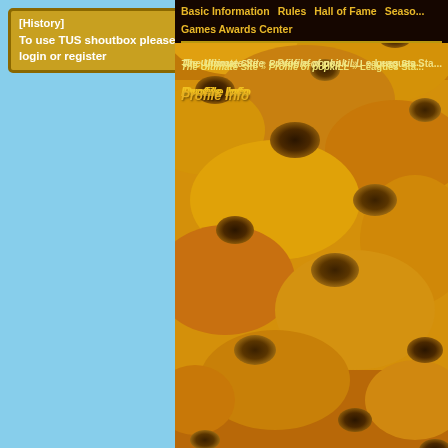[History]
To use TUS shoutbox please login or register
Basic Information   Rules   Hall of Fame   Season   Games Awards Center
The Ultimate Site » Profile of popkiLL » Leagues Sta...
Profile Info
[Figure (illustration): Golden cheese-textured background filling the right panel]
Won Medals and Trophies
Allround
TRL
TTL
Free
Graphs & Rank Images
Game results & limitations
Recent Games
Won Medals and Trophies
Season Trophies: